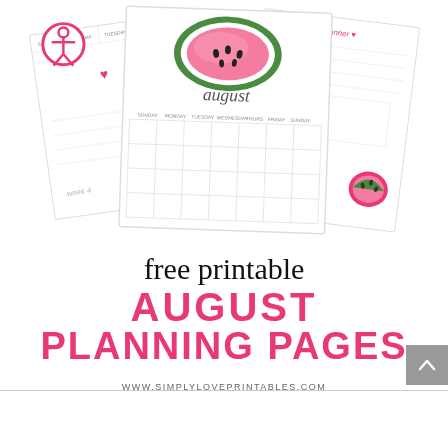[Figure (illustration): Three overlapping planner pages with watermelon watercolor decorations. Left page shows a weekly planner with pink heart decorations and 'week 4' text. Center page shows an August monthly calendar with a watercolor watermelon slice and cursive 'august' text. Right page shows a daily planner with pink watermelon decoration and 'daily planner' heading. Accessibility icon (person in circle) in top-left corner.]
free printable
AUGUST
PLANNING PAGES
WWW.SIMPLYLOVEPRINTABLES.COM